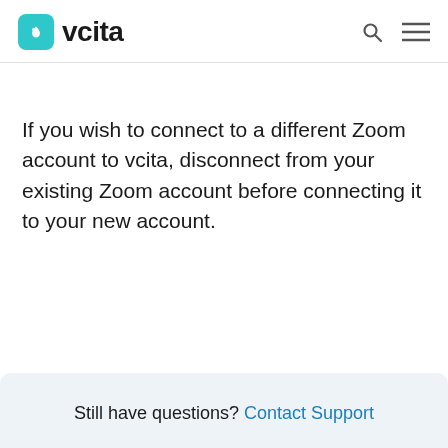vcita
If you wish to connect to a different Zoom account to vcita, disconnect from your existing Zoom account before connecting it to your new account.
Still have questions? Contact Support